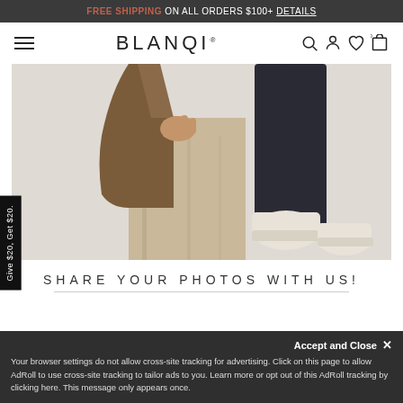FREE SHIPPING ON ALL ORDERS $100+ DETAILS
BLANQI
[Figure (photo): Person sitting on a light wood surface wearing dark leggings and white ankle boots, with a brown coat visible at left. Neutral background.]
Give $20, Get $20.
SHARE YOUR PHOTOS WITH US!
Your browser settings do not allow cross-site tracking for advertising. Click on this page to allow AdRoll to use cross-site tracking to tailor ads to you. Learn more or opt out of this AdRoll tracking by clicking here. This message only appears once.